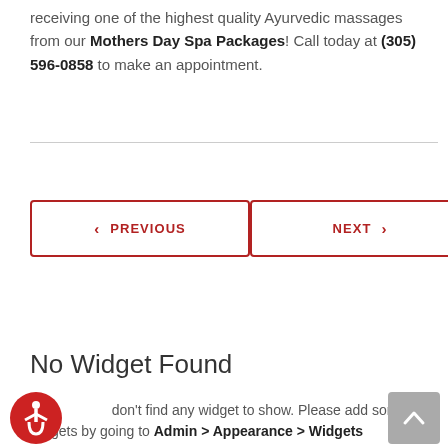receiving one of the highest quality Ayurvedic massages from our Mothers Day Spa Packages! Call today at (305) 596-0858 to make an appointment.
< PREVIOUS   NEXT >
No Widget Found
don't find any widget to show. Please add some widgets by going to Admin > Appearance > Widgets